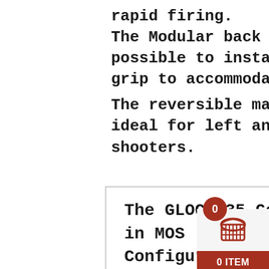rapid firing.
The Modular back strap system makes it possible to instantly customize its grip to accommodate any hand size.
The reversible magazine catch makes it ideal for left and right-handed shooters.
The GLOCK 35 Gen4 in MOS Configuration is a GLOCK pistol variant
[Figure (illustration): Shopping cart widget with red circular badge showing '0', muffin/basket icon, and red '0 ITEM' label below]